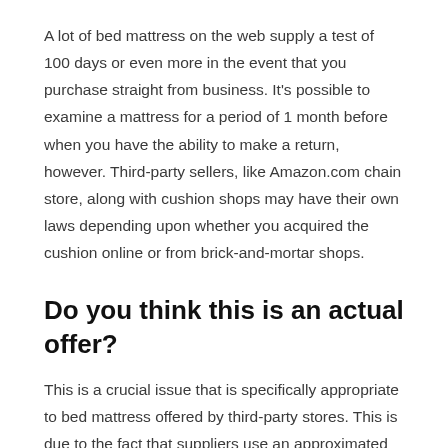A lot of bed mattress on the web supply a test of 100 days or even more in the event that you purchase straight from business. It's possible to examine a mattress for a period of 1 month before when you have the ability to make a return, however. Third-party sellers, like Amazon.com chain store, along with cushion shops may have their own laws depending upon whether you acquired the cushion online or from brick-and-mortar shops.
Do you think this is an actual offer?
This is a crucial issue that is specifically appropriate to bed mattress offered by third-party stores. This is due to the fact that suppliers use an approximated asking price (SRP) on the mattresses, nonetheless, the final cost of sale is the obligation of the store. Merchants might mark up prices over the SRP in order that they can cut it down, as well as insurance claim to supply the lowest rate. Go to the supplier's site or the website of the brand